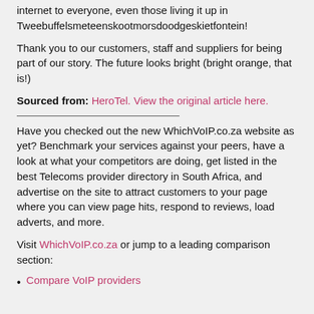internet to everyone, even those living it up in Tweebuffelsmeteenskootmorsdoodgeskietfontein!
Thank you to our customers, staff and suppliers for being part of our story. The future looks bright (bright orange, that is!)
Sourced from: HeroTel. View the original article here.
Have you checked out the new WhichVoIP.co.za website as yet? Benchmark your services against your peers, have a look at what your competitors are doing, get listed in the best Telecoms provider directory in South Africa, and advertise on the site to attract customers to your page where you can view page hits, respond to reviews, load adverts, and more.
Visit WhichVoIP.co.za or jump to a leading comparison section:
Compare VoIP providers